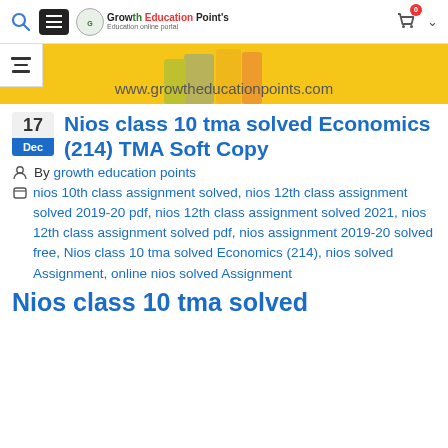Growth Education Points - www.growtheducationpoints.com
[Figure (screenshot): Yellow banner with books image and URL www.growtheducationpoints.com]
Nios class 10 tma solved Economics (214) TMA Soft Copy
By growth education points
nios 10th class assignment solved, nios 12th class assignment solved 2019-20 pdf, nios 12th class assignment solved 2021, nios 12th class assignment solved pdf, nios assignment 2019-20 solved free, Nios class 10 tma solved Economics (214), nios solved Assignment, online nios solved Assignment
Nios class 10 tma solved